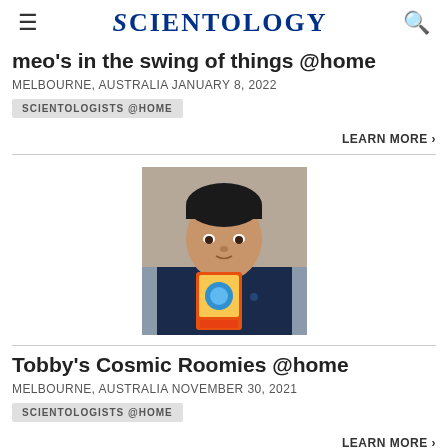SCIENTOLOGY
meo's in the swing of things @home
MELBOURNE, AUSTRALIA JANUARY 8, 2022
SCIENTOLOGISTS @HOME
LEARN MORE >
[Figure (photo): A young Asian boy holding up a Pokemon card, wearing a dark navy t-shirt, seated indoors.]
Tobby's Cosmic Roomies @home
MELBOURNE, AUSTRALIA NOVEMBER 30, 2021
SCIENTOLOGISTS @HOME
LEARN MORE >